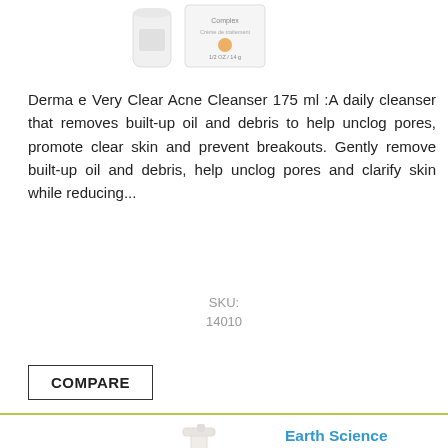[Figure (photo): Two white product containers (cream/lotion bottles) shown from above - Derma e product packaging]
Derma e Very Clear Acne Cleanser 175 ml :A daily cleanser that removes built-up oil and debris to help unclog pores, promote clear skin and prevent breakouts. Gently remove built-up oil and debris, help unclog pores and clarify skin while reducing...
SKU:
14010
COMPARE
[Figure (photo): Earth Science Clarifying Facial Wash bottle with pump dispenser, white and orange packaging]
Earth Science Clarifying Facial Wash 237 ml
CAD $19.99  CAD $15.99